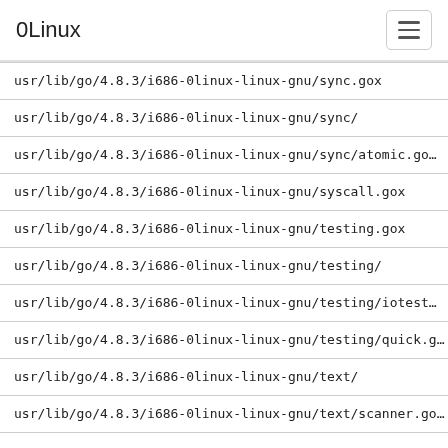0Linux
| usr/lib/go/4.8.3/i686-0linux-linux-gnu/sync.gox |
| usr/lib/go/4.8.3/i686-0linux-linux-gnu/sync/ |
| usr/lib/go/4.8.3/i686-0linux-linux-gnu/sync/atomic.go… |
| usr/lib/go/4.8.3/i686-0linux-linux-gnu/syscall.gox |
| usr/lib/go/4.8.3/i686-0linux-linux-gnu/testing.gox |
| usr/lib/go/4.8.3/i686-0linux-linux-gnu/testing/ |
| usr/lib/go/4.8.3/i686-0linux-linux-gnu/testing/iotest… |
| usr/lib/go/4.8.3/i686-0linux-linux-gnu/testing/quick.g… |
| usr/lib/go/4.8.3/i686-0linux-linux-gnu/text/ |
| usr/lib/go/4.8.3/i686-0linux-linux-gnu/text/scanner.go… |